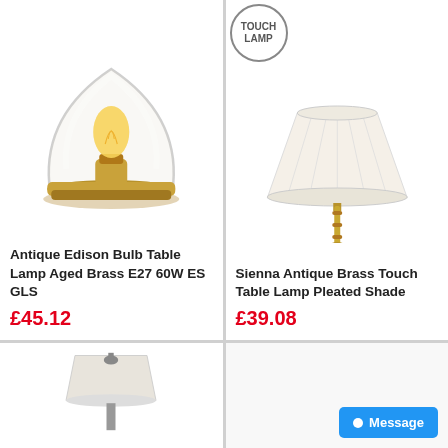[Figure (photo): Antique Edison Bulb Table Lamp with glass dome enclosure and aged brass base]
Antique Edison Bulb Table Lamp Aged Brass E27 60W ES GLS
£45.12
[Figure (photo): Sienna Antique Brass Touch Table Lamp with white pleated shade, with TOUCH LAMP badge]
Sienna Antique Brass Touch Table Lamp Pleated Shade
£39.08
[Figure (photo): Partial view of another lamp at the bottom left]
[Figure (photo): Bottom right cell with Message button]